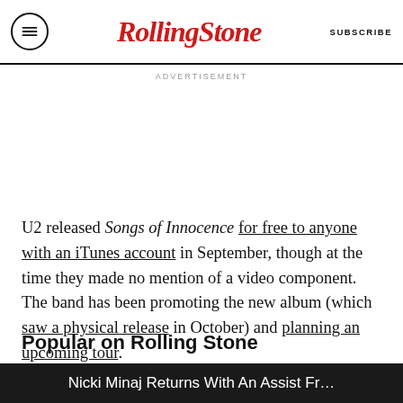Rolling Stone | SUBSCRIBE
ADVERTISEMENT
U2 released Songs of Innocence for free to anyone with an iTunes account in September, though at the time they made no mention of a video component. The band has been promoting the new album (which saw a physical release in October) and planning an upcoming tour.
Popular on Rolling Stone
Nicki Minaj Returns With An Assist Fr…